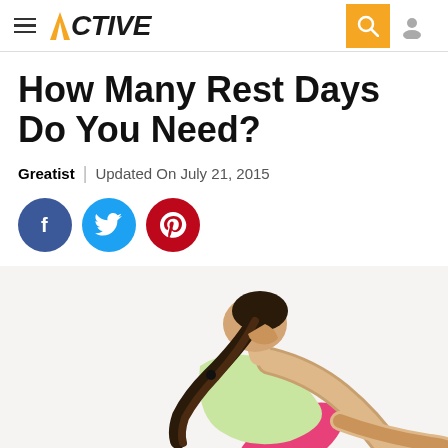ACTIVE
How Many Rest Days Do You Need?
Greatist | Updated On July 21, 2015
[Figure (other): Three social sharing buttons: Facebook (blue circle with f), Twitter (blue circle with bird), Pinterest (red circle with P logo)]
[Figure (photo): A woman in a pink sports bra and light green top leaning forward in a stretching pose with her ponytail hanging down, viewed from behind/side angle against a light background]